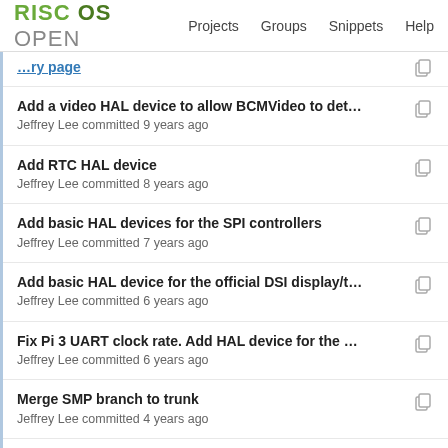RISC OS OPEN | Projects | Groups | Snippets | Help
Add a video HAL device to allow BCMVideo to det...
Jeffrey Lee committed 9 years ago
Add RTC HAL device
Jeffrey Lee committed 8 years ago
Add basic HAL devices for the SPI controllers
Jeffrey Lee committed 7 years ago
Add basic HAL device for the official DSI display/t...
Jeffrey Lee committed 6 years ago
Fix Pi 3 UART clock rate. Add HAL device for the ...
Jeffrey Lee committed 6 years ago
Merge SMP branch to trunk
Jeffrey Lee committed 4 years ago
Read board model, revision, and available DMA ch...
Jeffrey Lee committed 9 years ago